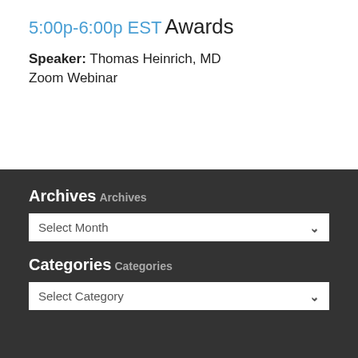5:00p-6:00p EST
Awards
Speaker: Thomas Heinrich, MD
Zoom Webinar
Archives
Archives
Select Month
Categories
Categories
Select Category
Contact Us
Association of Medicine and Psychiatry